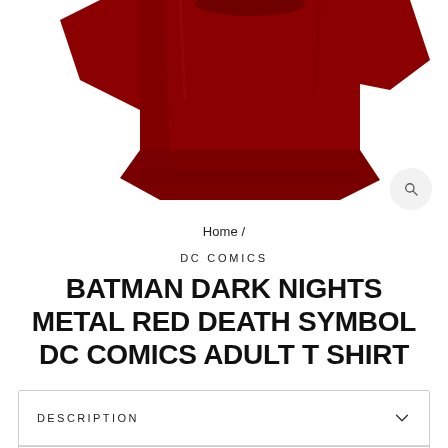[Figure (photo): Partial view of a dark red/maroon t-shirt, showing the upper folded portion against a white background]
Home /
DC COMICS
BATMAN DARK NIGHTS METAL RED DEATH SYMBOL DC COMICS ADULT T SHIRT
DESCRIPTION
DETAILS AND SHIPPING
ASK A QUESTION